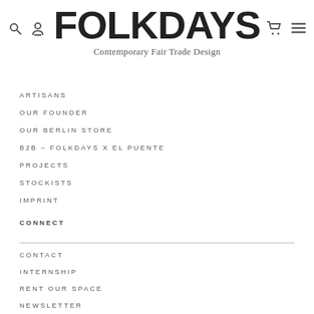[Figure (logo): Folkdays logo with decorative lettering]
Contemporary Fair Trade Design
ARTISANS
OUR FOUNDER
OUR BERLIN STORE
B2B – FOLKDAYS X EL PUENTE
PROJECTS
STOCKISTS
IMPRINT
CONNECT
CONTACT
INTERNSHIP
RENT OUR SPACE
NEWSLETTER